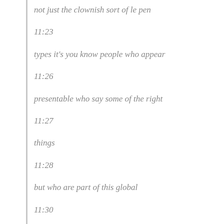not just the clownish sort of le pen
11:23
types it's you know people who appear
11:26
presentable who say some of the right
11:27
things
11:28
but who are part of this global
11:30
alt-right movement this global
11:31
this global alt-right will really be in